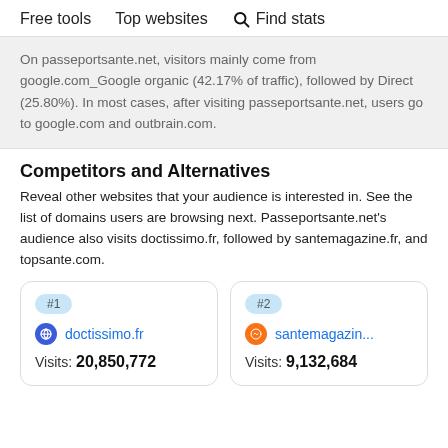Free tools   Top websites   Find stats
On passeportsante.net, visitors mainly come from google.com_Google organic (42.17% of traffic), followed by Direct (25.80%). In most cases, after visiting passeportsante.net, users go to google.com and outbrain.com.
Competitors and Alternatives
Reveal other websites that your audience is interested in. See the list of domains users are browsing next. Passeportsante.net's audience also visits doctissimo.fr, followed by santemagazine.fr, and topsante.com.
#1
doctissimo.fr
Visits: 20,850,772
#2
santemagazin...
Visits: 9,132,684